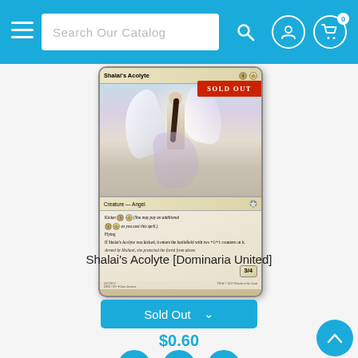Search Our Catalog
[Figure (illustration): Magic: The Gathering card 'Shalai's Acolyte' from Dominaria United set, showing an angel creature with wings, marked as SOLD OUT. Card text: Kicker 1W (You may pay an additional 1W as you cast this spell.) Flying. If Shalai's Acolyte was kicked, it enters the battlefield with two +1/+1 counters on it. Flavor text: Armed by Multani, she protected the forest from above. Power/Toughness: 3/4.]
Sold Out
Shalai's Acolyte [Dominaria United]
$0.60